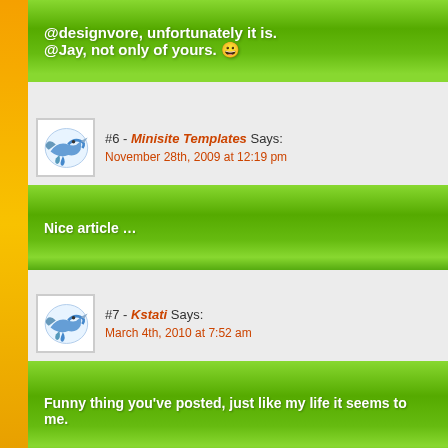@designvore, unfortunately it is.
@Jay, not only of yours. 😀
#6 - Minisite Templates Says:
November 28th, 2009 at 12:19 pm
Nice article …
#7 - Kstati Says:
March 4th, 2010 at 7:52 am
Funny thing you've posted, just like my life it seems to me.
#8 - Foot Specialist Says: